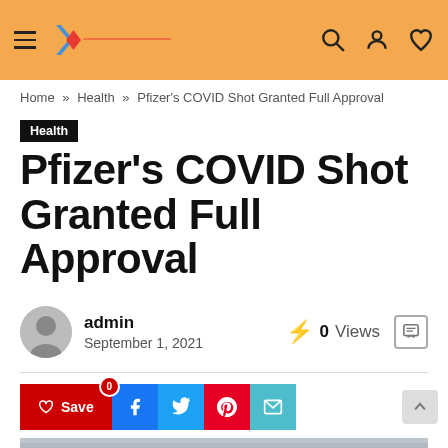GETNICHEPLUS
Home » Health » Pfizer's COVID Shot Granted Full Approval
Health
Pfizer's COVID Shot Granted Full Approval
admin
September 1, 2021
0 Views
[Figure (screenshot): Social share buttons: Save (heart icon, red), Facebook (blue), Twitter (light blue), Pinterest (red), Email (teal)]
[Figure (photo): Close-up photo of a hand signing a document or form, partially cropped at bottom of page]